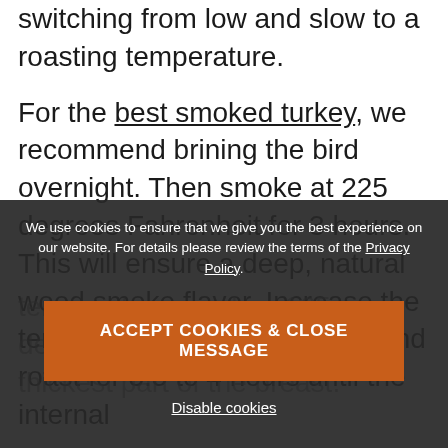switching from low and slow to a roasting temperature.

For the best smoked turkey, we recommend brining the bird overnight. Then smoke at 225 degrees Fahrenheit for 3 hours. This will ensure a deep, natural wood smoke flavor. Increase the temperature to 350 degrees, and roast for 3.5 to 4 hours until the internal temperature reaches 165 degrees Fahrenheit in the thickest part of the breast.
We use cookies to ensure that we give you the best experience on our website. For details please review the terms of the Privacy Policy.
ACCEPT COOKIES & CLOSE MESSAGE
Disable cookies